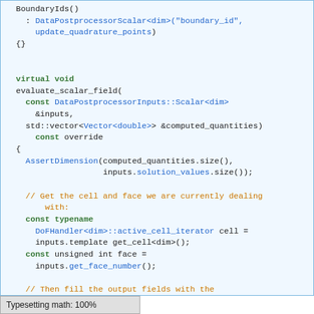[Figure (screenshot): C++ source code snippet showing BoundaryIds class constructor and evaluate_scalar_field virtual method implementation with syntax highlighting]
Typesetting math: 100%